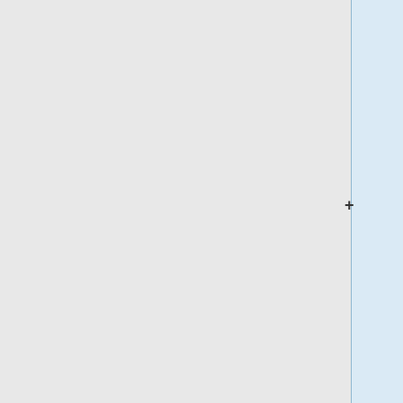[http://ringo.ams.sunysb.edu/~rizzo/StonyBrook/teaching/AMS532_AMS535_AMS536/References/Ertl2009.pdf Ertl, P.; Schuffenhauer, A.; Estimation of synthetic accessibility score of drug-like molecules based on molecular complexity and fragment contributions. "J. Cheminformatics", '''2009''', "1", 8]